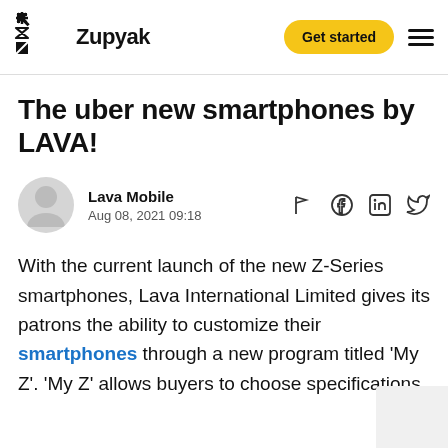Zupyak — Get started
The uber new smartphones by LAVA!
Lava Mobile
Aug 08, 2021 09:18
With the current launch of the new Z-Series smartphones, Lava International Limited gives its patrons the ability to customize their smartphones through a new program titled 'My Z'. 'My Z' allows buyers to choose specifications